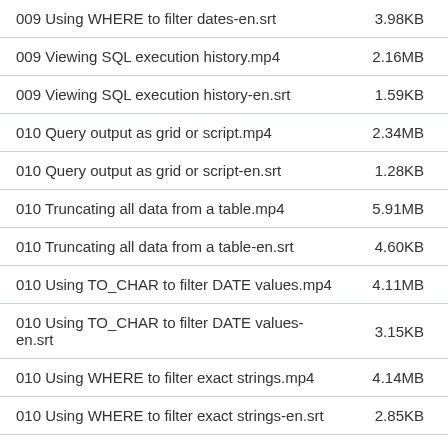| Filename | Size |
| --- | --- |
| 009 Using WHERE to filter dates-en.srt | 3.98KB |
| 009 Viewing SQL execution history.mp4 | 2.16MB |
| 009 Viewing SQL execution history-en.srt | 1.59KB |
| 010 Query output as grid or script.mp4 | 2.34MB |
| 010 Query output as grid or script-en.srt | 1.28KB |
| 010 Truncating all data from a table.mp4 | 5.91MB |
| 010 Truncating all data from a table-en.srt | 4.60KB |
| 010 Using TO_CHAR to filter DATE values.mp4 | 4.11MB |
| 010 Using TO_CHAR to filter DATE values-en.srt | 3.15KB |
| 010 Using WHERE to filter exact strings.mp4 | 4.14MB |
| 010 Using WHERE to filter exact strings-en.srt | 2.85KB |
| 011 The special Oracle DUAL table.mp4 | 2.49MB |